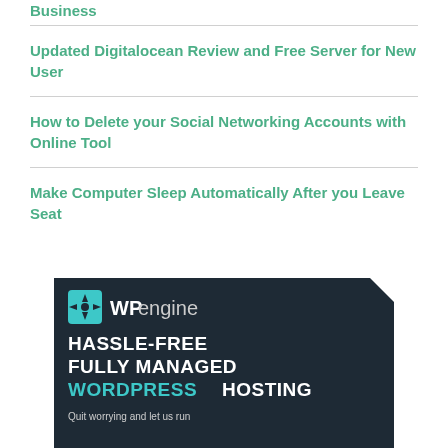Business
Updated Digitalocean Review and Free Server for New User
How to Delete your Social Networking Accounts with Online Tool
Make Computer Sleep Automatically After you Leave Seat
[Figure (illustration): WP Engine advertisement banner with dark navy background. Shows WP Engine logo (teal icon + WP in bold white and 'engine' in light text), headline 'HASSLE-FREE FULLY MANAGED WORDPRESS HOSTING' with WORDPRESS in teal, and subtext 'Quit worrying and let us run']